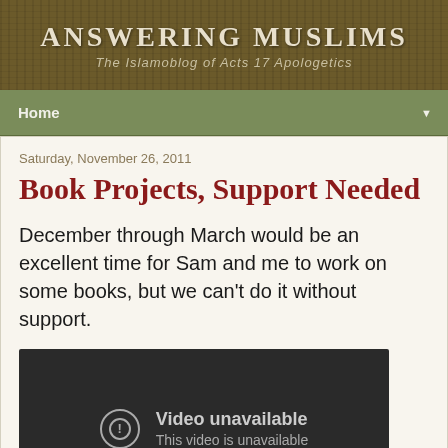ANSWERING MUSLIMS
The Islamoblog of Acts 17 Apologetics
Home
Saturday, November 26, 2011
Book Projects, Support Needed
December through March would be an excellent time for Sam and me to work on some books, but we can't do it without support.
[Figure (screenshot): Embedded video player showing 'Video unavailable - This video is unavailable' error message on dark background]